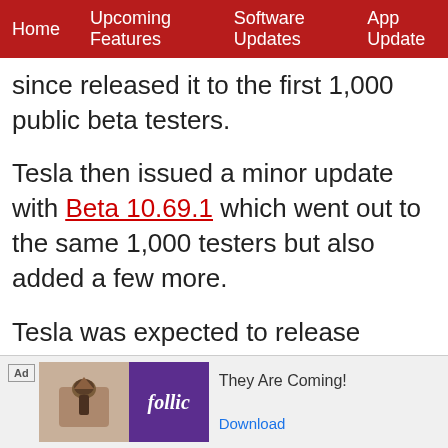Home | Upcoming Features | Software Updates | App Update
since released it to the first 1,000 public beta testers.
Tesla then issued a minor update with Beta 10.69.1 which went out to the same 1,000 testers but also added a few more.
Tesla was expected to release version 10.69.1 to additional testers; up to 10,000, but we haven't seen that yet. Tesla may be looking to wrap up a few loose ends before expanding the beta further and it's... he...